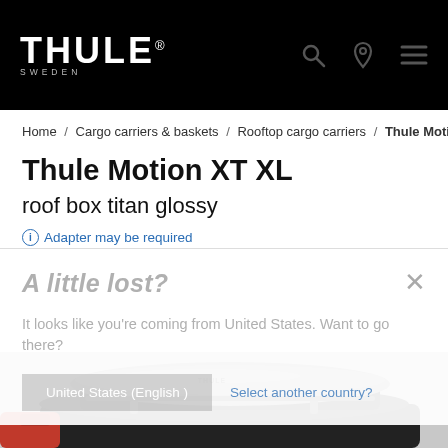THULE SWEDEN — Navigation header with search, location, and menu icons
Home / Cargo carriers & baskets / Rooftop cargo carriers / Thule Motion
Thule Motion XT XL
roof box titan glossy
ⓘ Adapter may be required
A little lost?
It looks like you're coming from United States. Want to go there?
United States (English)    Select another country?
[Figure (photo): Thule Motion XT XL roof box in titan glossy finish mounted on a black SUV, viewed from above/side angle]